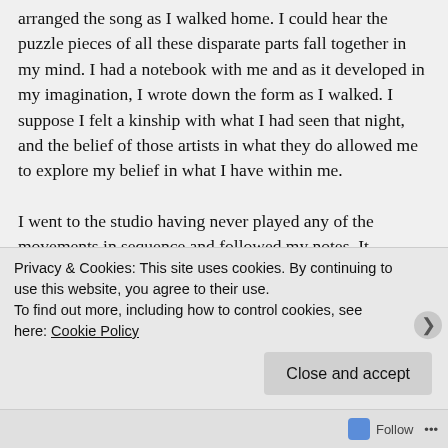arranged the song as I walked home. I could hear the puzzle pieces of all these disparate parts fall together in my mind. I had a notebook with me and as it developed in my imagination, I wrote down the form as I walked. I suppose I felt a kinship with what I had seen that night, and the belief of those artists in what they do allowed me to explore my belief in what I have within me.

I went to the studio having never played any of the movements in sequence and followed my notes. It unfolded like: “OK now I’m going to do this, then I’m going to do that.” I laid down all the groundwork for the piece. Once Spencer Owen came in, he immediately responded to my energies. I
Privacy & Cookies: This site uses cookies. By continuing to use this website, you agree to their use.
To find out more, including how to control cookies, see here: Cookie Policy
Close and accept